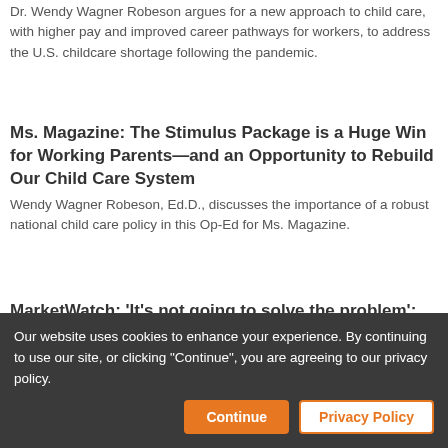Dr. Wendy Wagner Robeson argues for a new approach to child care, with higher pay and improved career pathways for workers, to address the U.S. childcare shortage following the pandemic.
Ms. Magazine: The Stimulus Package is a Huge Win for Working Parents—and an Opportunity to Rebuild Our Child Care System
Wendy Wagner Robeson, Ed.D., discusses the importance of a robust national child care policy in this Op-Ed for Ms. Magazine.
MarketWatch: 'It's not going to solve the problem': Democrats unveil ambitious child-care tax credit, but will it be enough?
Our website uses cookies to enhance your experience. By continuing to use our site, or clicking "Continue", you are agreeing to our privacy policy.